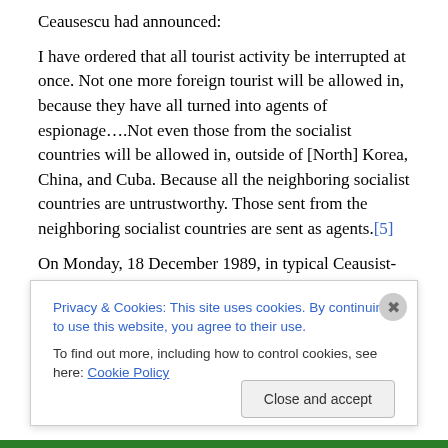Ceausescu had announced:
I have ordered that all tourist activity be interrupted at once. Not one more foreign tourist will be allowed in, because they have all turned into agents of espionage….Not even those from the socialist countries will be allowed in, outside of [North] Korea, China, and Cuba. Because all the neighboring socialist countries are untrustworthy. Those sent from the neighboring socialist countries are sent as agents.[5]
On Monday, 18 December 1989, in typical Ceausist-style it
Privacy & Cookies: This site uses cookies. By continuing to use this website, you agree to their use.
To find out more, including how to control cookies, see here: Cookie Policy